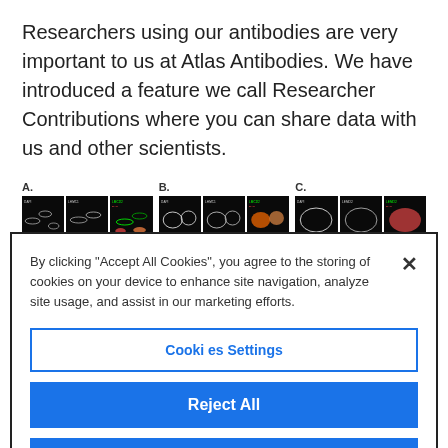Researchers using our antibodies are very important to us at Atlas Antibodies. We have introduced a feature we call Researcher Contributions where you can share data with us and other scientists.
[Figure (photo): Three panels (A, B, C) of fluorescence microscopy images showing LMCD2 antibody staining in various cell/tissue types. Each panel shows multiple channels: DAPI (blue), LHMC1 (grayscale), and LMCD2/DAPI overlay (green/red/orange). Panel A shows skeletal muscle, Panel B shows atlas bone/marrow cells, Panel C shows additional tissue. Two rows per panel visible.]
By clicking “Accept All Cookies”, you agree to the storing of cookies on your device to enhance site navigation, analyze site usage, and assist in our marketing efforts.
Cookies Settings
Reject All